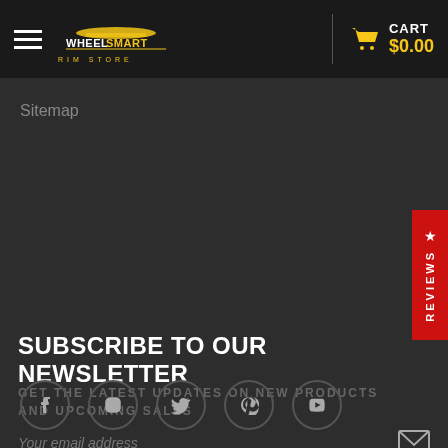WheelSmart RIM STORE — CART $0.00
Sitemap
SUBSCRIBE TO OUR NEWSLETTER
GET THE LATEST UPDATES ON NEW PRODUCTS AND UPCOMING SALES
Your email address